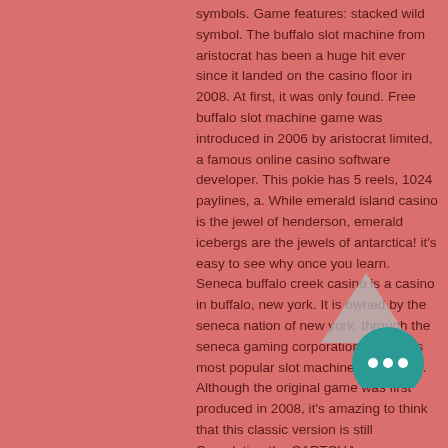symbols. Game features: stacked wild symbol. The buffalo slot machine from aristocrat has been a huge hit ever since it landed on the casino floor in 2008. At first, it was only found. Free buffalo slot machine game was introduced in 2006 by aristocrat limited, a famous online casino software developer. This pokie has 5 reels, 1024 paylines, a. While emerald island casino is the jewel of henderson, emerald icebergs are the jewels of antarctica! it's easy to see why once you learn. Seneca buffalo creek casino is a casino in buffalo, new york. It is owned by the seneca nation of new york, through the seneca gaming corporation. Buffalo is most popular slot machine ever made. Although the original game was first produced in 2008, it's amazing to think that this classic version is still
Completing the CAPTCHA proves you human and gives you temporary access to
[Figure (illustration): Gray triangle shape and teal circular chat bubble with three white dots]